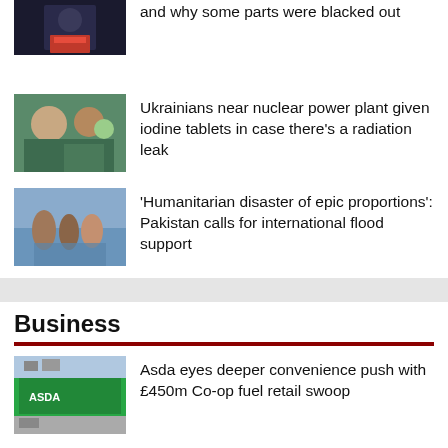and why some parts were blacked out
[Figure (photo): Man in suit with red tie]
[Figure (photo): People receiving medical tablets indoors]
Ukrainians near nuclear power plant given iodine tablets in case there’s a radiation leak
[Figure (photo): People wading through floodwaters carrying belongings]
‘Humanitarian disaster of epic proportions’: Pakistan calls for international flood support
Business
[Figure (photo): Asda supermarket storefront with petrol station]
Asda eyes deeper convenience push with £450m Co-op fuel retail swoop
[Figure (photo): Abstract colorful background image]
‘Heartbreaking’ choices that Britons will have